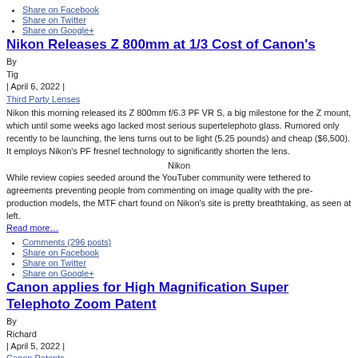Share on Facebook
Share on Twitter
Share on Google+
Nikon Releases Z 800mm at 1/3 Cost of Canon's
By
Tig
| April 6, 2022 |
Third Party Lenses
Nikon this morning released its Z 800mm f/6.3 PF VR S, a big milestone for the Z mount, which until some weeks ago lacked most serious supertelephoto glass. Rumored only recently to be launching, the lens turns out to be light (5.25 pounds) and cheap ($6,500). It employs Nikon's PF fresnel technology to significantly shorten the lens.
Nikon
While review copies seeded around the YouTuber community were tethered to agreements preventing people from commenting on image quality with the pre-production models, the MTF chart found on Nikon's site is pretty breathtaking, as seen at left.
Read more…
Comments (296 posts)
Share on Facebook
Share on Twitter
Share on Google+
Canon applies for High Magnification Super Telephoto Zoom Patent
By
Richard
| April 5, 2022 |
Canon Patents
Atypically in patent embodiments, it's usually difficult for super-telephoto zoom lens to take full advantage of the RF mount.
One reason is that you simply can't use a Tele extender if the rear elements are sitting too far back in the